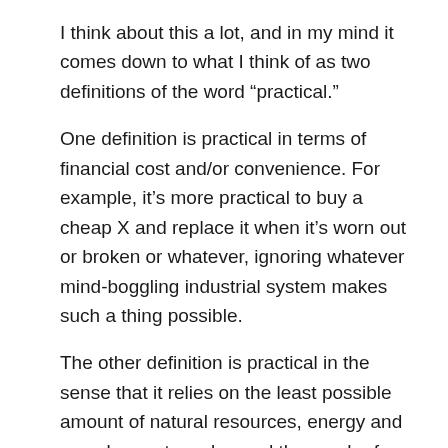I think about this a lot, and in my mind it comes down to what I think of as two definitions of the word “practical.”
One definition is practical in terms of financial cost and/or convenience. For example, it’s more practical to buy a cheap X and replace it when it’s worn out or broken or whatever, ignoring whatever mind-boggling industrial system makes such a thing possible.
The other definition is practical in the sense that it relies on the least possible amount of natural resources, energy and complex systems beyond the reach of individuals and self sustaining communities.
By the first definition, it’s more practical to